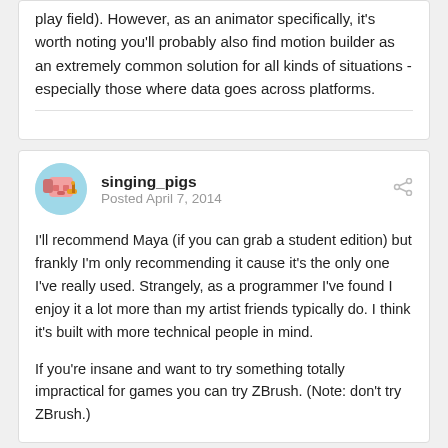play field). However, as an animator specifically, it's worth noting you'll probably also find motion builder as an extremely common solution for all kinds of situations - especially those where data goes across platforms.
singing_pigs
Posted April 7, 2014
I'll recommend Maya (if you can grab a student edition) but frankly I'm only recommending it cause it's the only one I've really used. Strangely, as a programmer I've found I enjoy it a lot more than my artist friends typically do. I think it's built with more technical people in mind.

If you're insane and want to try something totally impractical for games you can try ZBrush. (Note: don't try ZBrush.)
deleted user
Posted April 17, 2014